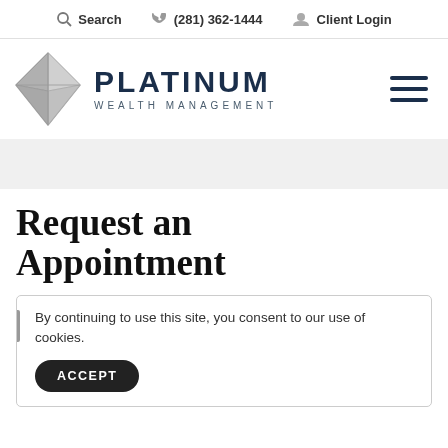Search  (281) 362-1444  Client Login
[Figure (logo): Platinum Wealth Management logo: a silver diamond/geometric shape on the left, text PLATINUM in dark navy bold large letters, WEALTH MANAGEMENT in smaller spaced letters below, hamburger menu icon on the right.]
Request an Appointment
By continuing to use this site, you consent to our use of cookies.
ACCEPT